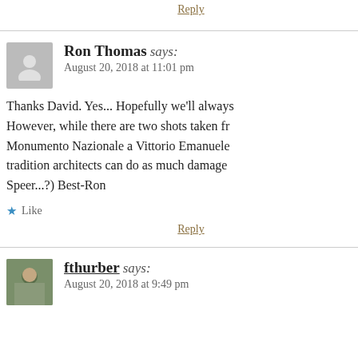Reply
Ron Thomas says:
August 20, 2018 at 11:01 pm
Thanks David. Yes... Hopefully we'll always However, while there are two shots taken fr Monumento Nazionale a Vittorio Emanuele tradition architects can do as much damage Speer...?) Best-Ron
Like
Reply
fthurber says:
August 20, 2018 at 9:49 pm